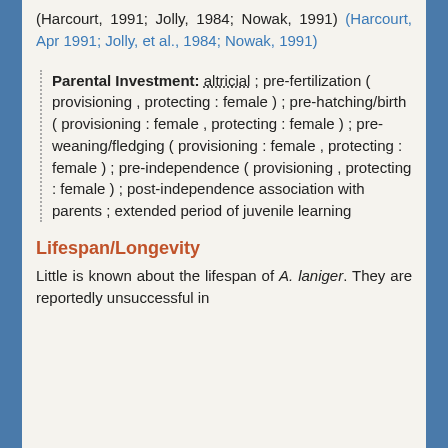(Harcourt, 1991; Jolly, 1984; Nowak, 1991) (Harcourt, Apr 1991; Jolly, et al., 1984; Nowak, 1991)
Parental Investment: altricial ; pre-fertilization ( provisioning , protecting : female ) ; pre-hatching/birth ( provisioning : female , protecting : female ) ; pre-weaning/fledging ( provisioning : female , protecting : female ) ; pre-independence ( provisioning , protecting : female ) ; post-independence association with parents ; extended period of juvenile learning
Lifespan/Longevity
Little is known about the lifespan of A. laniger. They are reportedly unsuccessful in